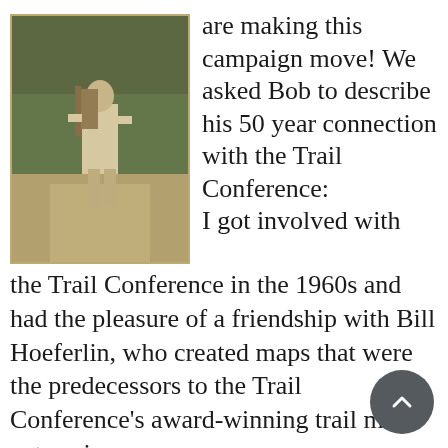[Figure (photo): Vintage photograph of a person hiking on a trail, wearing a backpack and light-colored clothing, with trees in the background. The photo has a sepia/aged tone.]
are making this campaign move! We asked Bob to describe his 50 year connection with the Trail Conference: I got involved with the Trail Conference in the 1960s and had the pleasure of a friendship with Bill Hoeferlin, who created maps that were the predecessors to the Trail Conference's award-winning trail map enterprise. I have always cherished the work of the Trail Conference because they